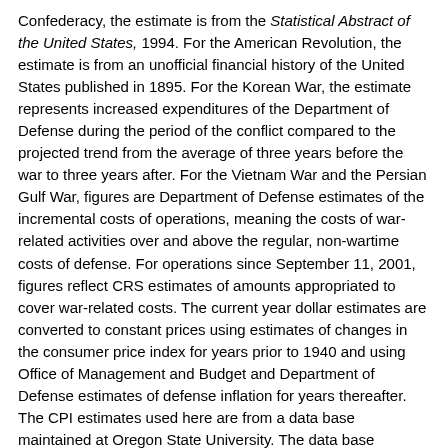Confederacy, the estimate is from the Statistical Abstract of the United States, 1994. For the American Revolution, the estimate is from an unofficial financial history of the United States published in 1895. For the Korean War, the estimate represents increased expenditures of the Department of Defense during the period of the conflict compared to the projected trend from the average of three years before the war to three years after. For the Vietnam War and the Persian Gulf War, figures are Department of Defense estimates of the incremental costs of operations, meaning the costs of war-related activities over and above the regular, non-wartime costs of defense. For operations since September 11, 2001, figures reflect CRS estimates of amounts appropriated to cover war-related costs. The current year dollar estimates are converted to constant prices using estimates of changes in the consumer price index for years prior to 1940 and using Office of Management and Budget and Department of Defense estimates of defense inflation for years thereafter. The CPI estimates used here are from a data base maintained at Oregon State University. The data base periodically updates figures for new official CPI estimates of the U.S. Department of Commerce.
Notes
a. Most Persian Gulf War costs were offset by allied contributions or were